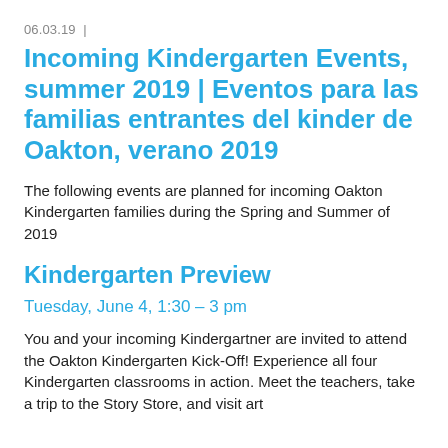06.03.19  |
Incoming Kindergarten Events, summer 2019 | Eventos para las familias entrantes del kinder de Oakton, verano 2019
The following events are planned for incoming Oakton Kindergarten families during the Spring and Summer of 2019
Kindergarten Preview
Tuesday, June 4, 1:30 – 3 pm
You and your incoming Kindergartner are invited to attend the Oakton Kindergarten Kick-Off! Experience all four Kindergarten classrooms in action. Meet the teachers, take a trip to the Story Store, and visit art